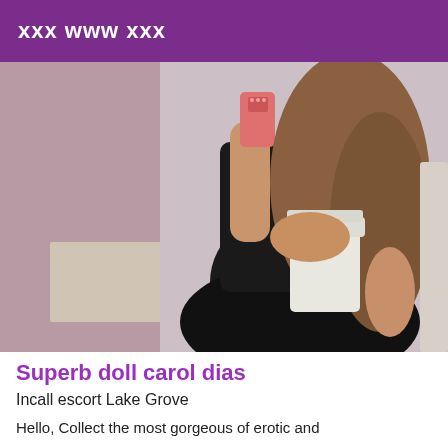xxx www xxx
[Figure (photo): Woman in black outfit taking a mirror selfie in a bathroom]
Superb doll carol dias
Incall escort Lake Grove
Hello, Collect the most gorgeous of erotic and